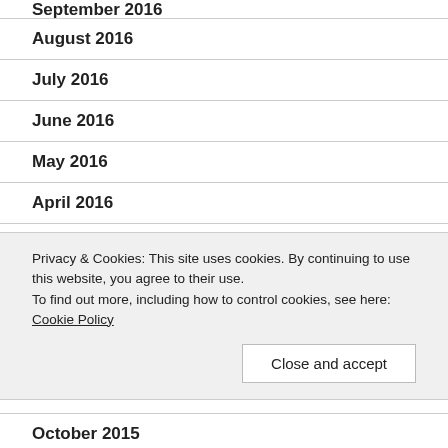September 2016
August 2016
July 2016
June 2016
May 2016
April 2016
March 2016
February 2016
Privacy & Cookies: This site uses cookies. By continuing to use this website, you agree to their use. To find out more, including how to control cookies, see here: Cookie Policy
October 2015